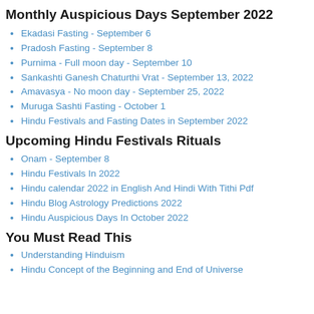Monthly Auspicious Days September 2022
Ekadasi Fasting - September 6
Pradosh Fasting - September 8
Purnima - Full moon day - September 10
Sankashti Ganesh Chaturthi Vrat - September 13, 2022
Amavasya - No moon day - September 25, 2022
Muruga Sashti Fasting - October 1
Hindu Festivals and Fasting Dates in September 2022
Upcoming Hindu Festivals Rituals
Onam - September 8
Hindu Festivals In 2022
Hindu calendar 2022 in English And Hindi With Tithi Pdf
Hindu Blog Astrology Predictions 2022
Hindu Auspicious Days In October 2022
You Must Read This
Understanding Hinduism
Hindu Concept of the Beginning and End of Universe